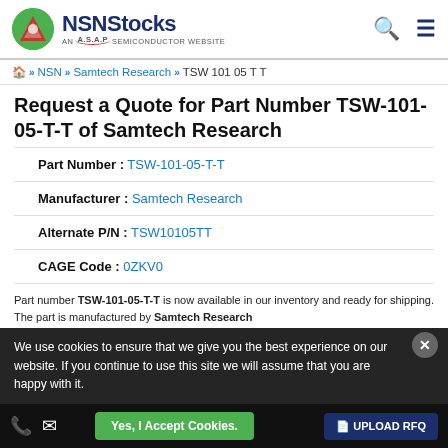NSNStocks AN A.S.A.P SEMICONDUCTOR WEBSITE
🏠 » NSN » Samtech Research » TSW 101 05 T T
Request a Quote for Part Number TSW-101-05-T-T of Samtech Research
Part Number: TSW-101-05-T-T
Manufacturer: Samtech Research
Alternate P/N: TSW10105TT
CAGE Code: 0ZKV0
Part number TSW-101-05-T-T is now available in our inventory and ready for shipping. The part is manufactured by Samtech Research
We use cookies to ensure that we give you the best experience on our website. If you continue to use this site we will assume that you are happy with it.
Yes, I Accept Cookies.   UPLOAD RFQ